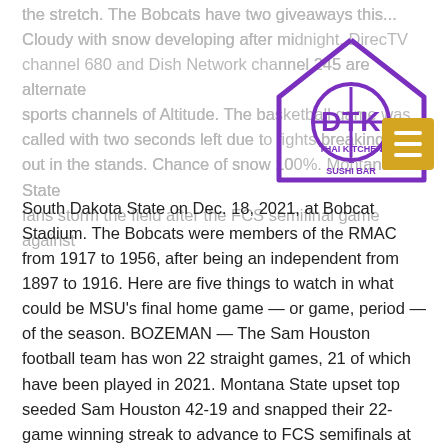the stretch. The Bobcats have two giveaways this... Cloudy with snow developing after midnight. DirecTV channel 680 and Dish Network channel 245 are alternate sports channels of Altitude. The basketball game was called with two seconds left due to fights breaking out in the stands. Chance of snow 100%. Montana State fans storm the field after the FCS semifinal game against
[Figure (logo): DTK Thai Kitchen & Sushi Bar logo — a purple house outline with a circle containing a compass/crosshair symbol and the letters DTK in purple, with 'THAI KITCHEN & SUSHI BAR' text below in purple.]
South Dakota State on Dec. 18, 2021, at Bobcat Stadium. The Bobcats were members of the RMAC from 1917 to 1956, after being an independent from 1897 to 1916. Here are five things to watch in what could be MSU's final home game — or game, period — of the season. BOZEMAN — The Sam Houston football team has won 22 straight games, 21 of which have been played in 2021. Montana State upset top seeded Sam Houston 42-19 and snapped their 22-game winning streak to advance to FCS semifinals at Bowers Stadium on Saturday. FORECAST: A mostly quiet forecast is taking over as we head into the week before Christmas. In Billings, the games will air specifically on SWX Montana (Charter channel 503) or on NBC KULR channel 8. Rabbit: Cottontail are found across the area. The Wisconsin